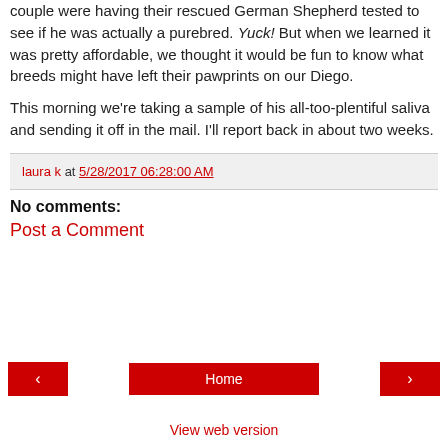couple were having their rescued German Shepherd tested to see if he was actually a purebred. Yuck! But when we learned it was pretty affordable, we thought it would be fun to know what breeds might have left their pawprints on our Diego.
This morning we're taking a sample of his all-too-plentiful saliva and sending it off in the mail. I'll report back in about two weeks.
laura k at 5/28/2017 06:28:00 AM
No comments:
Post a Comment
Home
View web version